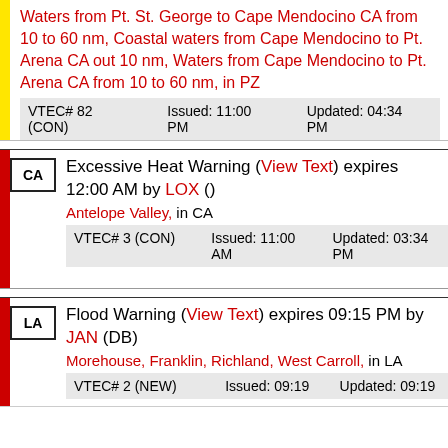Waters from Pt. St. George to Cape Mendocino CA from 10 to 60 nm, Coastal waters from Cape Mendocino to Pt. Arena CA out 10 nm, Waters from Cape Mendocino to Pt. Arena CA from 10 to 60 nm, in PZ
| VTEC# 82 (CON) | Issued: 11:00 PM | Updated: 04:34 PM |
| --- | --- | --- |
Excessive Heat Warning (View Text) expires 12:00 AM by LOX () Antelope Valley, in CA
| VTEC# 3 (CON) | Issued: 11:00 AM | Updated: 03:34 PM |
| --- | --- | --- |
Flood Warning (View Text) expires 09:15 PM by JAN (DB) Morehouse, Franklin, Richland, West Carroll, in LA
| VTEC# 2 (NEW) | Issued: 09:19 | Updated: 09:19 |
| --- | --- | --- |